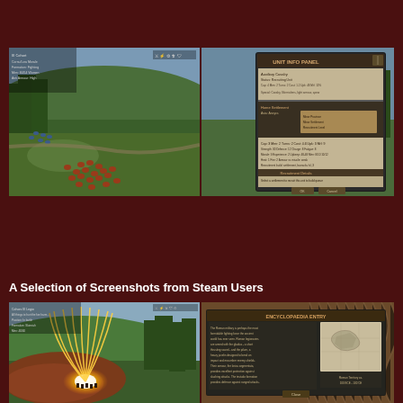[Figure (screenshot): Screenshot from a strategy/battle game showing troops in formation on a green landscape with trees and hills, viewed from above-behind. Small text overlay in top-left corner with HUD elements in top-right.]
[Figure (screenshot): Screenshot showing a game UI panel/dialog box with unit information, stats and recruitment details overlaid on a landscape scene. Contains multiple text sections with beige/tan background panels.]
A Selection of Screenshots from Steam Users
[Figure (screenshot): Screenshot from battle game showing glowing/golden projectile arcs (arrows or artillery) raining down on troops on a reddish-brown hillside. Dramatic lighting effect with bright impact point.]
[Figure (screenshot): Screenshot showing a game information/encyclopedia panel with a map or tactical overview image on the right side and text description on the left, overlaid on a brown/fur textured background.]